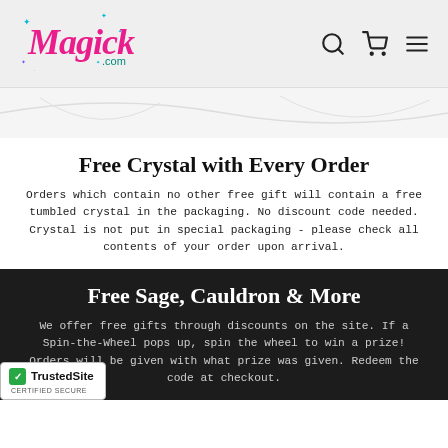[Figure (logo): Magick.com logo in pink cursive with sparkle stars, alongside search, cart, and hamburger menu icons]
[Figure (illustration): Decorative wave or banner graphic in gray/white]
Free Crystal with Every Order
Orders which contain no other free gift will contain a free tumbled crystal in the packaging. No discount code needed. Crystal is not put in special packaging - please check all contents of your order upon arrival.
Free Sage, Cauldron & More
We offer free gifts through discounts on the site. If a Spin-the-Wheel pops up, spin the wheel to win a prize! Orders will be given with what prize was given. Redeem the code at checkout.
[Figure (logo): TrustedSite CERTIFIED SECURE badge in bottom left corner]